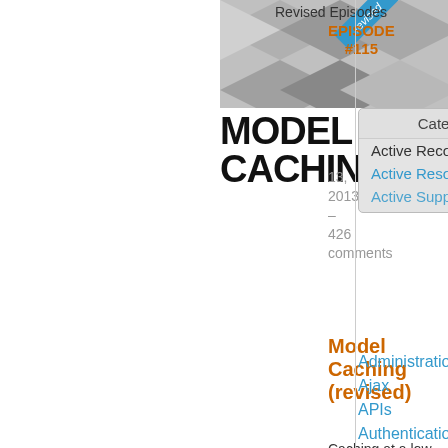[Figure (illustration): Geometric diamond/cube shapes in gray tones forming a decorative header image]
Revised Episodes
EPISODE #115
Categories
Active Record
Active Resource
Active Support
MODEL CACHING
13, 2013 – 426 comments
Model Caching (revised)
Administration
Ajax
APIs
Authentication
Authorization
Background Jobs
Caching
Code Walkthrough
Controllers
Debugging
Deployment
eCommerce
Forms
Mailing
Models
Caching at a low level is a great option when the view is too dynamic